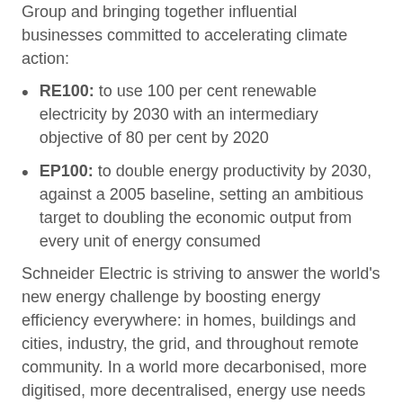Group and bringing together influential businesses committed to accelerating climate action:
RE100: to use 100 per cent renewable electricity by 2030 with an intermediary objective of 80 per cent by 2020
EP100: to double energy productivity by 2030, against a 2005 baseline, setting an ambitious target to doubling the economic output from every unit of energy consumed
Schneider Electric is striving to answer the world's new energy challenge by boosting energy efficiency everywhere: in homes, buildings and cities, industry, the grid, and throughout remote community. In a world more decarbonised, more digitised, more decentralised, energy use needs to be more productive. In order to deliver on its new promises and its sustained energy efficiency efforts, Schneider Electric will leverage its own technical solutions (EcoStruxure Power, EcoStruxure Grid). Using these solutions, the Group has been able to reduce its energy consumption by 10 per cent every three years for the past 10 years. More specifically, Schneider Electric has reduced